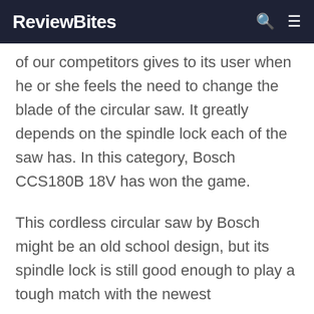ReviewBites
of our competitors gives to its user when he or she feels the need to change the blade of the circular saw. It greatly depends on the spindle lock each of the saw has. In this category, Bosch CCS180B 18V has won the game.
This cordless circular saw by Bosch might be an old school design, but its spindle lock is still good enough to play a tough match with the newest